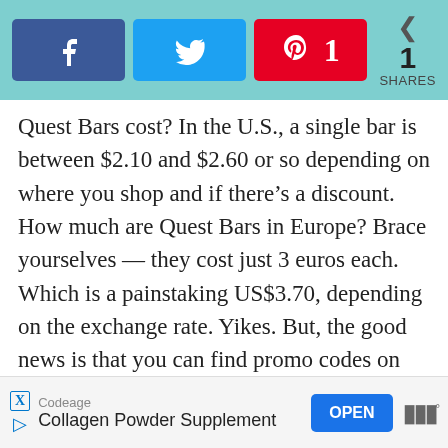[Figure (screenshot): Social share bar with Facebook, Twitter, Pinterest buttons and share count. Facebook button (blue), Twitter button (blue), Pinterest button (red) showing count '1', and share icon with '1 SHARES'.]
Quest Bars cost? In the U.S., a single bar is between $2.10 and $2.60 or so depending on where you shop and if there's a discount. How much are Quest Bars in Europe? Brace yourselves — they cost just 3 euros each. Which is a painstaking US$3.70, depending on the exchange rate. Yikes. But, the good news is that you can find promo codes on the web and reduce the cost by buying a box of 12 instead of individual bars once you
[Figure (screenshot): Advertisement banner: Codeage Collagen Powder Supplement with OPEN button in blue]